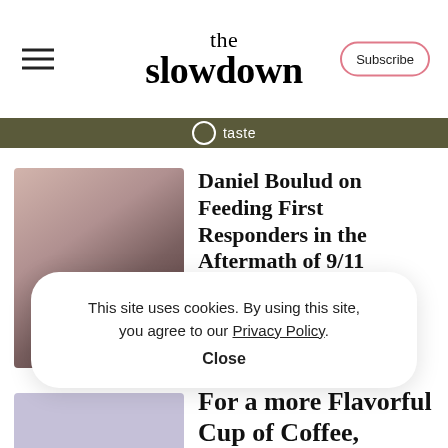the slowdown
taste
Daniel Boulud on Feeding First Responders in the Aftermath of 9/11
After working at various five-star restaurants in Europe throughout...
[Figure (photo): Blurred thumbnail image with warm earthy tones for the article about Daniel Boulud]
This site uses cookies. By using this site, you agree to our Privacy Policy. Close
For a more Flavorful Cup of Coffee,